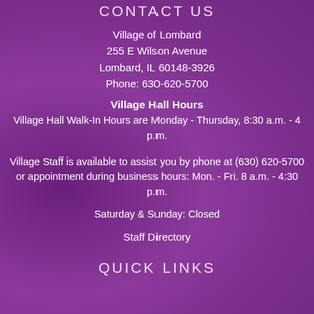CONTACT US
Village of Lombard
255 E Wilson Avenue
Lombard, IL 60148-3926
Phone: 630-620-5700
Village Hall Hours
Village Hall Walk-In Hours are Monday - Thursday, 8:30 a.m. - 4 p.m.
Village Staff is available to assist you by phone at (630) 620-5700 or appointment during business hours: Mon. - Fri. 8 a.m. - 4:30 p.m.
Saturday & Sunday: Closed
Staff Directory
QUICK LINKS